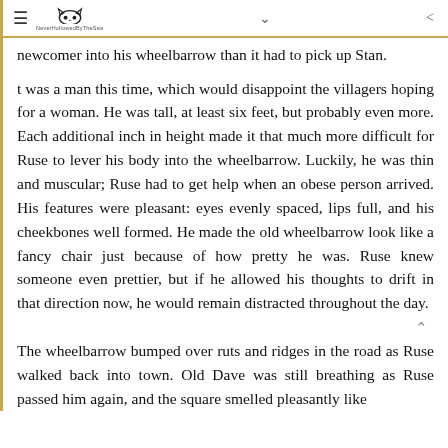≡ [cat logo] NeverHollowedByTheSea ∨ ⋖
newcomer into his wheelbarrow than it had to pick up Stan.
It was a man this time, which would disappoint the villagers hoping for a woman. He was tall, at least six feet, but probably even more. Each additional inch in height made it that much more difficult for Ruse to lever his body into the wheelbarrow. Luckily, he was thin and muscular; Ruse had to get help when an obese person arrived. His features were pleasant: eyes evenly spaced, lips full, and his cheekbones well formed. He made the old wheelbarrow look like a fancy chair just because of how pretty he was. Ruse knew someone even prettier, but if he allowed his thoughts to drift in that direction now, he would remain distracted throughout the day.
The wheelbarrow bumped over ruts and ridges in the road as Ruse walked back into town. Old Dave was still breathing as Ruse passed him again, and the square smelled pleasantly like